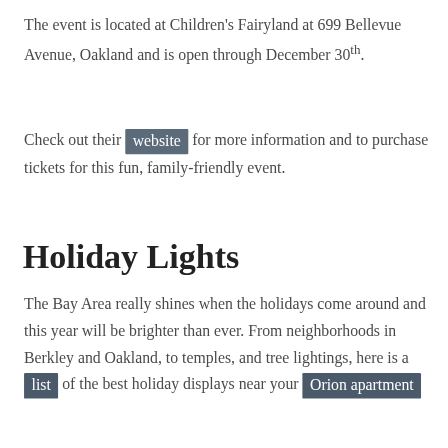The event is located at Children's Fairyland at 699 Bellevue Avenue, Oakland and is open through December 30th.
Check out their website for more information and to purchase tickets for this fun, family-friendly event.
Holiday Lights
The Bay Area really shines when the holidays come around and this year will be brighter than ever. From neighborhoods in Berkley and Oakland, to temples, and tree lightings, here is a list of the best holiday displays near your Orion apartment